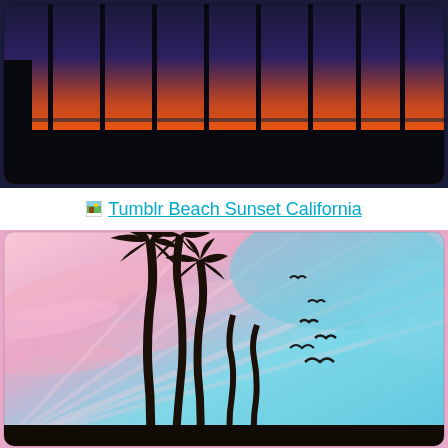[Figure (photo): Silhouette of tall palm trees in a row against a vivid orange-red sunset sky over the ocean, dark foreground silhouette of ground/beach]
Tumblr Beach Sunset California
[Figure (photo): Looking up at palm trees swaying in the wind against a pastel pink and teal/blue sky with wispy clouds and several birds flying overhead]